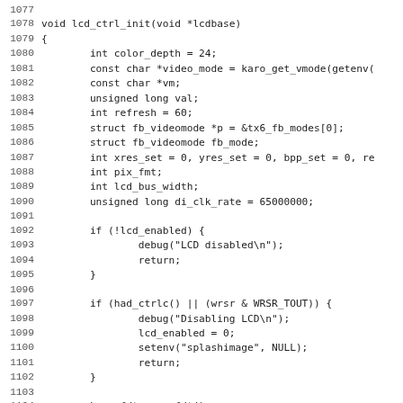Source code listing lines 1077–1108, function lcd_ctrl_init(void *lcdbase) with variable declarations and conditional blocks